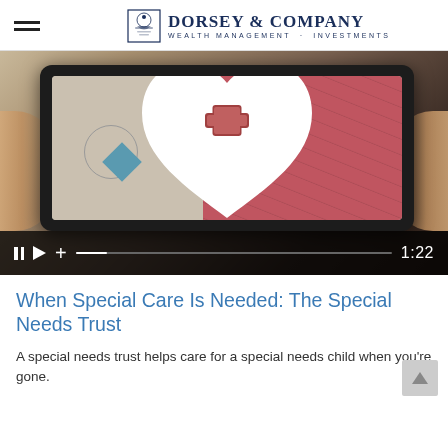Dorsey & Company — Wealth Management · Investments
[Figure (screenshot): Video thumbnail showing hands holding a tablet device with a health/medical app displaying a white heart shape with a red medical cross icon, and video playback controls at the bottom showing pause, play, add buttons, progress bar, and timestamp 1:22]
When Special Care Is Needed: The Special Needs Trust
A special needs trust helps care for a special needs child when you're gone.